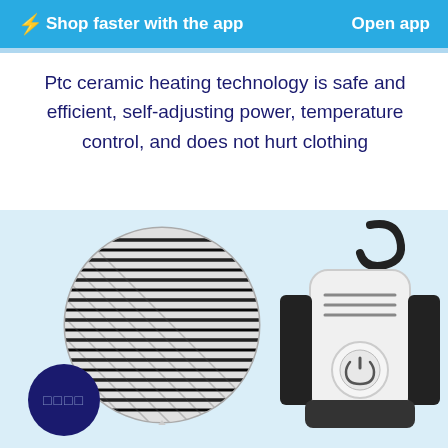⚡Shop faster with the app   Open app
Ptc ceramic heating technology is safe and efficient, self-adjusting power, temperature control, and does not hurt clothing
[Figure (photo): Close-up circular macro photo of a PTC ceramic heating element grid showing diagonal black and white heating strips, alongside a product image of a white portable clothes dryer/heater device with a black hanging hook, vents, and a circular power button. A dark navy blue circle with symbolic text sits in the lower left.]